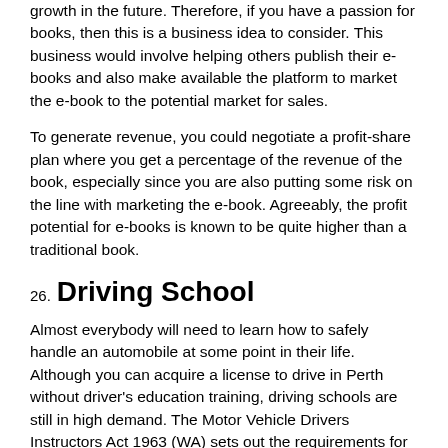growth in the future. Therefore, if you have a passion for books, then this is a business idea to consider. This business would involve helping others publish their e-books and also make available the platform to market the e-book to the potential market for sales.
To generate revenue, you could negotiate a profit-share plan where you get a percentage of the revenue of the book, especially since you are also putting some risk on the line with marketing the e-book. Agreeably, the profit potential for e-books is known to be quite higher than a traditional book.
26. Driving School
Almost everybody will need to learn how to safely handle an automobile at some point in their life. Although you can acquire a license to drive in Perth without driver's education training, driving schools are still in high demand. The Motor Vehicle Drivers Instructors Act 1963 (WA) sets out the requirements for a driving instructor's license, including:
A current Western Australian driver's license.